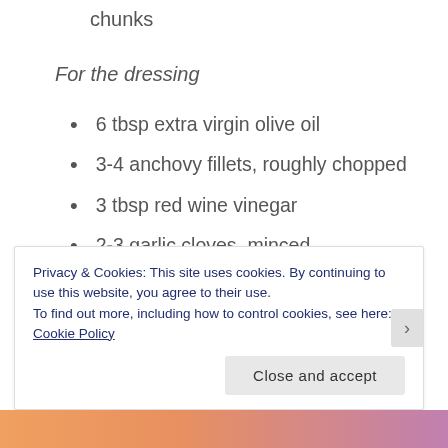chunks
For the dressing
6 tbsp extra virgin olive oil
3-4 anchovy fillets, roughly chopped
3 tbsp red wine vinegar
2-3 garlic cloves, minced
1 small red onion, minced
Pinch of ground black pepper
*Plain smoked salmon is fine, or you ca mix it up a bit and get herbed smoked salmon or with five
Privacy & Cookies: This site uses cookies. By continuing to use this website, you agree to their use. To find out more, including how to control cookies, see here: Cookie Policy
Close and accept